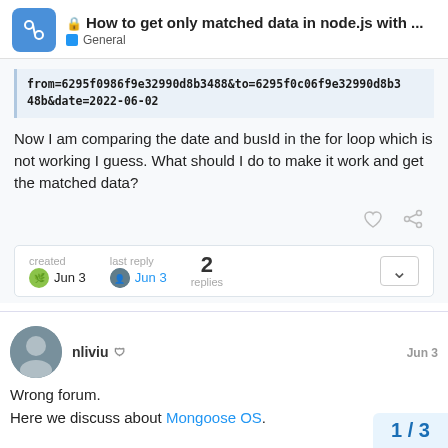How to get only matched data in node.js with ... — General
from=6295f0986f9e32990d8b3488&to=6295f0c06f9e32990d8b348b&date=2022-06-02
Now I am comparing the date and busId in the for loop which is not working I guess. What should I do to make it work and get the matched data?
created Jun 3   last reply Jun 3   2 replies
nliviu   Jun 3
Wrong forum.
Here we discuss about Mongoose OS.